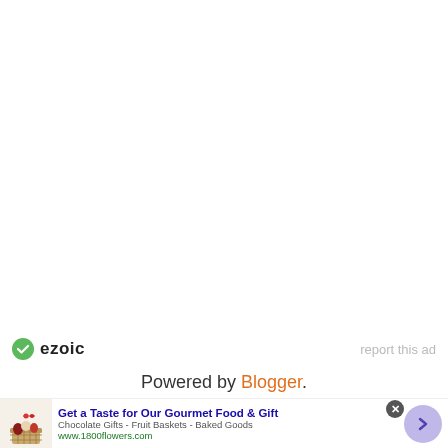[Figure (logo): Ezoic logo with green circle icon and ezoic text, plus 'report this ad' link on right]
Powered by Blogger.
[Figure (infographic): Advertisement banner: Get a Taste for Our Gourmet Food & Gift - Chocolate Gifts - Fruit Baskets - Baked Goods - www.1800flowers.com - with gift basket image and arrow button]